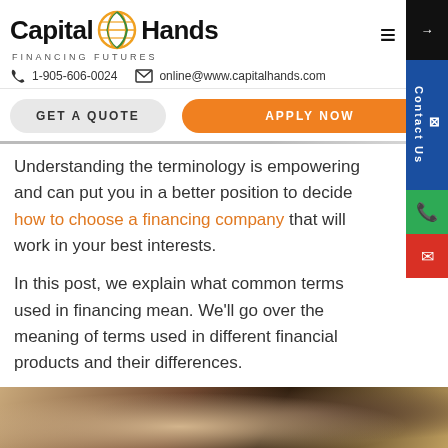[Figure (logo): Capital Hands Financing Futures logo with globe icon]
1-905-606-0024   online@www.capitalhands.com
GET A QUOTE   APPLY NOW
Understanding the terminology is empowering and can put you in a better position to decide how to choose a financing company that will work in your best interests.
In this post, we explain what common terms used in financing mean. We'll go over the meaning of terms used in different financial products and their differences.
[Figure (photo): Close-up photo of hands writing, dark background]